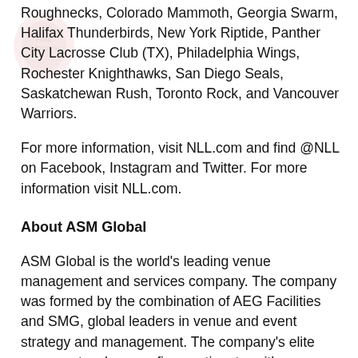Roughnecks, Colorado Mammoth, Georgia Swarm, Halifax Thunderbirds, New York Riptide, Panther City Lacrosse Club (TX), Philadelphia Wings, Rochester Knighthawks, San Diego Seals, Saskatchewan Rush, Toronto Rock, and Vancouver Warriors.
For more information, visit NLL.com and find @NLL on Facebook, Instagram and Twitter. For more information visit NLL.com.
About ASM Global
ASM Global is the world's leading venue management and services company. The company was formed by the combination of AEG Facilities and SMG, global leaders in venue and event strategy and management. The company's elite venue network spans five continents, with a portfolio of more than 325 of the world's most prestigious arenas, stadiums, convention, and exhibition centers, and performing arts venues. From Aberdeen to Anchorage, and